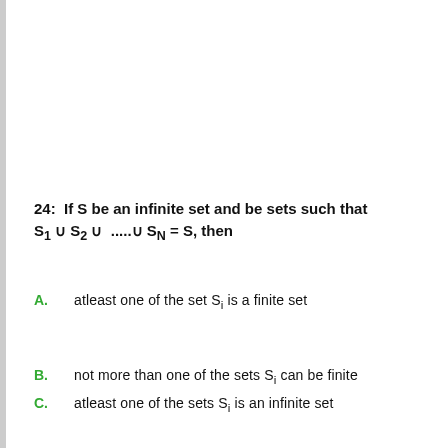24:  If S be an infinite set and be sets such that S₁ ∪ S₂ ∪  .....∪ S_N = S, then
A.  atleast one of the set Sᵢ is a finite set
B.  not more than one of the sets Sᵢ can be finite
C.  atleast one of the sets Sᵢ is an infinite set